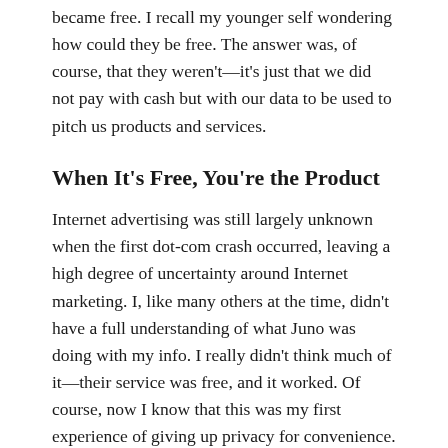became free. I recall my younger self wondering how could they be free. The answer was, of course, that they weren't—it's just that we did not pay with cash but with our data to be used to pitch us products and services.
When It's Free, You're the Product
Internet advertising was still largely unknown when the first dot-com crash occurred, leaving a high degree of uncertainty around Internet marketing. I, like many others at the time, didn't have a full understanding of what Juno was doing with my info. I really didn't think much of it—their service was free, and it worked. Of course, now I know that this was my first experience of giving up privacy for convenience.
I do wish to underline that I used all the services mentioned, and I am not suggesting people should stop.